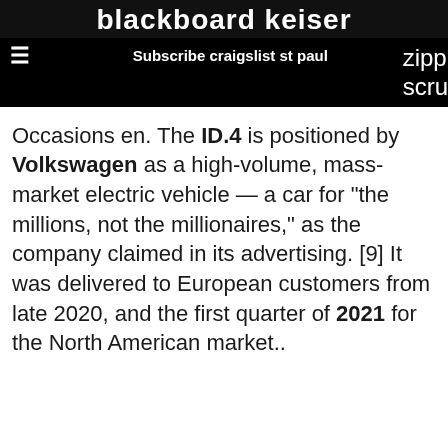blackboard keiser
Subscribe craigslist st paul   zipp scru
Occasions en. The ID.4 is positioned by Volkswagen as a high-volume, mass-market electric vehicle — a car for "the millions, not the millionaires," as the company claimed in its advertising. [9] It was delivered to European customers from late 2020, and the first quarter of 2021 for the North American market..